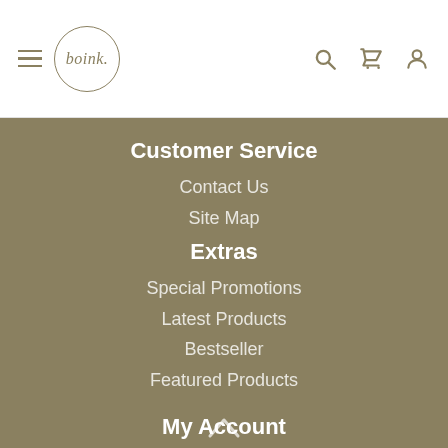boink. [logo] [hamburger menu] [search icon] [cart icon] [account icon]
Customer Service
Contact Us
Site Map
Extras
Special Promotions
Latest Products
Bestseller
Featured Products
My Account
My Account
Order history